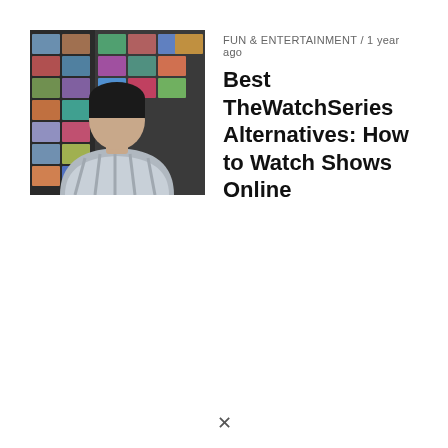[Figure (photo): Person seen from behind watching a wall of TV screens showing various content thumbnails]
FUN & ENTERTAINMENT / 1 year ago
Best TheWatchSeries Alternatives: How to Watch Shows Online